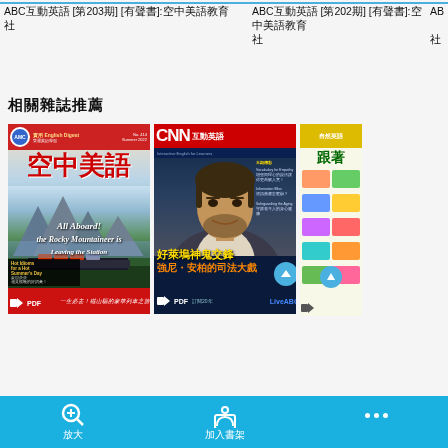ABC互動英語 [第203期] [有聲書]:空中美語教育
ABC互動英語 [第202期] [有聲書]:空中美語教育
AB... 教育
相關雜誌推薦
[Figure (photo): Magazine cover: 空中美語 (Air American English), issue featuring Rocky Mountaineer train, mountain landscape, with PDF and audio icons]
[Figure (photo): Magazine cover: CNN互動英語, featuring Johnny Depp, with Chinese headline 好萊塢神鬼交鋒強尼‧安柏的司法大戲, PDF and audio icons]
[Figure (photo): Partial magazine cover visible on right edge, colorful grid layout]
放大 加入書架 ...